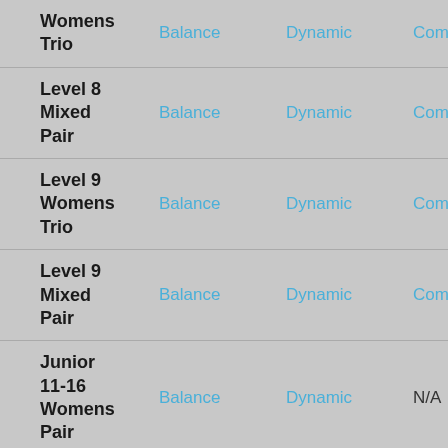| Event | Balance | Dynamic | Combined |
| --- | --- | --- | --- |
| Womens Trio | Balance | Dynamic | Combined |
| Level 8 Mixed Pair | Balance | Dynamic | Combined |
| Level 9 Womens Trio | Balance | Dynamic | Combined |
| Level 9 Mixed Pair | Balance | Dynamic | Combined |
| Junior 11-16 Womens Pair | Balance | Dynamic | N/A |
| Junior |  |  |  |